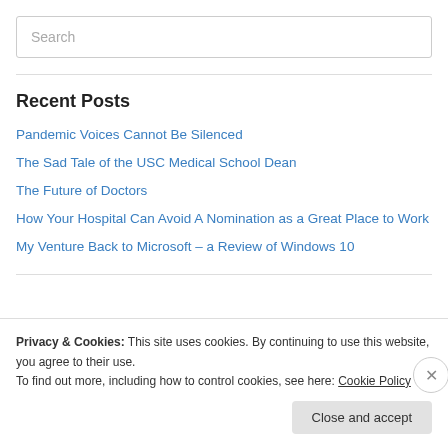Search
Recent Posts
Pandemic Voices Cannot Be Silenced
The Sad Tale of the USC Medical School Dean
The Future of Doctors
How Your Hospital Can Avoid A Nomination as a Great Place to Work
My Venture Back to Microsoft – a Review of Windows 10
Privacy & Cookies: This site uses cookies. By continuing to use this website, you agree to their use. To find out more, including how to control cookies, see here: Cookie Policy
Close and accept